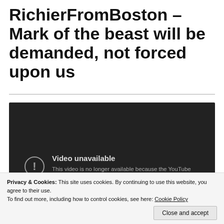RichierFromBoston – Mark of the beast will be demanded, not forced upon us
[Figure (screenshot): Embedded YouTube video player showing 'Video unavailable' error message. Dark background with exclamation icon in a circle. Text reads: 'Video unavailable. This video is no longer available because the YouTube account associated with this video has been terminated.']
Privacy & Cookies: This site uses cookies. By continuing to use this website, you agree to their use. To find out more, including how to control cookies, see here: Cookie Policy